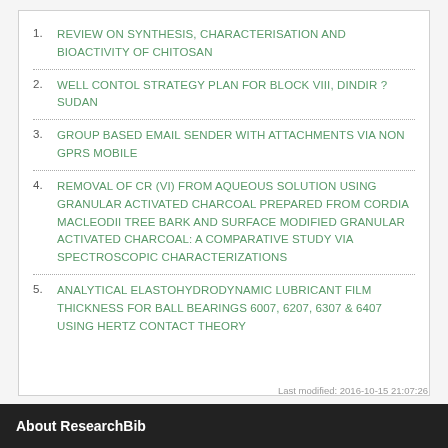REVIEW ON SYNTHESIS, CHARACTERISATION AND BIOACTIVITY OF CHITOSAN
WELL CONTOL STRATEGY PLAN FOR BLOCK VIII, DINDIR ? SUDAN
GROUP BASED EMAIL SENDER WITH ATTACHMENTS VIA NON GPRS MOBILE
REMOVAL OF Cr (VI) FROM AQUEOUS SOLUTION USING GRANULAR ACTIVATED CHARCOAL PREPARED FROM CORDIA MACLEODII TREE BARK AND SURFACE MODIFIED GRANULAR ACTIVATED CHARCOAL: A COMPARATIVE STUDY VIA SPECTROSCOPIC CHARACTERIZATIONS
ANALYTICAL ELASTOHYDRODYNAMIC LUBRICANT FILM THICKNESS FOR BALL BEARINGS 6007, 6207, 6307 & 6407 USING HERTZ CONTACT THEORY
Last modified: 2016-10-15 21:07:26
About ResearchBib